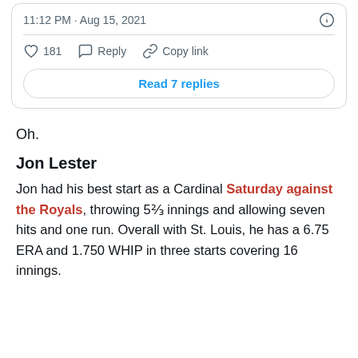[Figure (screenshot): Tweet card showing timestamp 11:12 PM · Aug 15, 2021, info icon, heart/like count 181, Reply button, Copy link button, and a Read 7 replies button]
Oh.
Jon Lester
Jon had his best start as a Cardinal Saturday against the Royals, throwing 5⅔ innings and allowing seven hits and one run. Overall with St. Louis, he has a 6.75 ERA and 1.750 WHIP in three starts covering 16 innings.